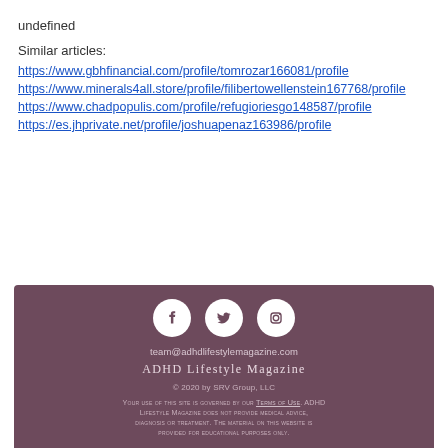undefined
Similar articles:
https://www.gbhfinancial.com/profile/tomrozar166081/profile
https://www.minerals4all.store/profile/filibertowellenstein167768/profile
https://www.chadpopulis.com/profile/refugioriesgo148587/profile
https://es.jhprivate.net/profile/joshuapenaz163986/profile
team@adhdlifestylemagazine.com
ADHD Lifestyle Magazine
© 2020 by SRV Group, LLC
Your use of this site is governed by our Terms of Use. ADHD Lifestyle Magazine does not provide medical advice, diagnosis or treatment. The material on this website is provided for educational purposes only.